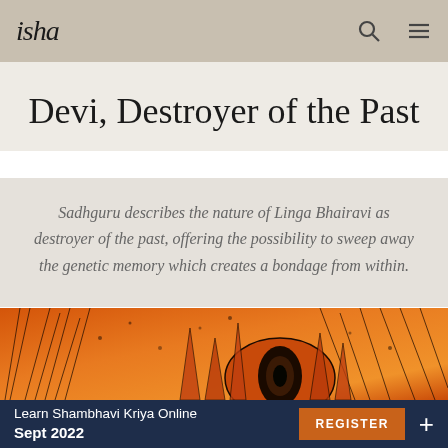isha
Devi, Destroyer of the Past
Sadhguru describes the nature of Linga Bhairavi as destroyer of the past, offering the possibility to sweep away the genetic memory which creates a bondage from within.
[Figure (illustration): Orange and black illustrated artwork depicting a stylized eye or deity figure with decorative feathers, plants, and intricate line-work on an orange-red background]
Learn Shambhavi Kriya Online Sept 2022  REGISTER  +